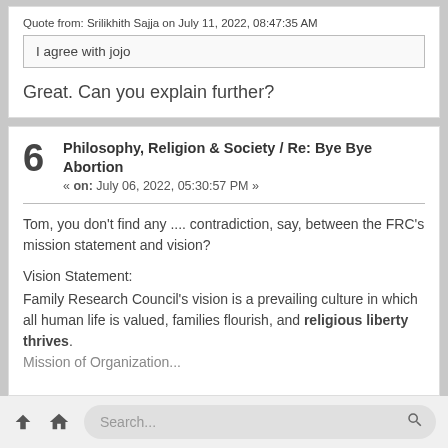Quote from: Srilikhith Sajja on July 11, 2022, 08:47:35 AM
I agree with jojo
Great. Can you explain further?
Philosophy, Religion & Society / Re: Bye Bye Abortion
« on: July 06, 2022, 05:30:57 PM »
Tom, you don't find any .... contradiction, say, between the FRC's mission statement and vision?
Vision Statement:
Family Research Council's vision is a prevailing culture in which all human life is valued, families flourish, and religious liberty thrives.
Mission of Organization...